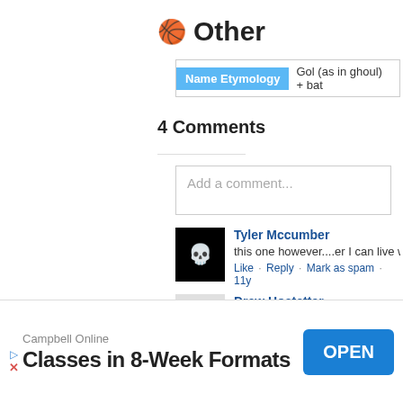Other
| Name Etymology |  |
| --- | --- |
| Gol (as in ghoul) + bat |  |
4 Comments
Add a comment...
Tyler Mccumber
this one however....er I can live w
Like · Reply · Mark as spam · 11y
Drew Hostetter
[Figure (infographic): Advertisement banner: Campbell Online - Classes in 8-Week Formats with OPEN button]